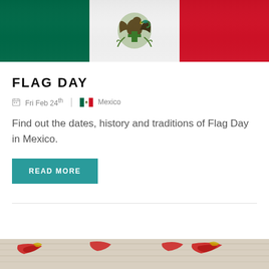[Figure (photo): Mexican flag waving, showing green, white, and red stripes with coat of arms]
FLAG DAY
Fri Feb 24th  |  Mexico
Find out the dates, history and traditions of Flag Day in Mexico.
READ MORE
[Figure (photo): Partial view of red and yellow decorative textile or embroidery at bottom of page]